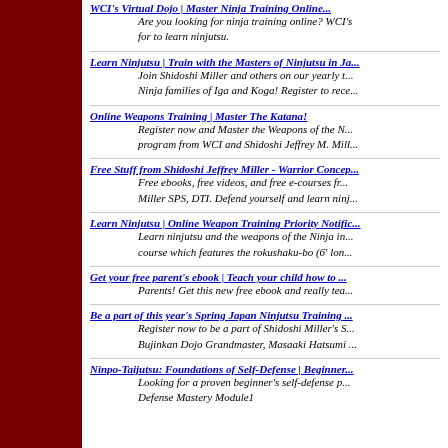WCI's Virtual Dojo | Master Ninja Training Online!
Are you looking for ninja training online? WCI's for to learn ninjutsu.
Learn Ninjutsu | Train with the Masters of Ninjutsu in Ja...
Join Shidoshi Miller and others on our yearly t... Ninja families of Iga and Koga! Register to rece...
Online Weapons Training | Master The Katana!
Register now and Master the Weapons of the N... program from WCI and Shidoshi Jeffrey M. Mill...
Free Stuff from Shidoshi Jeffrey Miller - Warrior Concep...
Free ebooks, free videos, and free e-courses fr... Miller SPS, DTI. Defend yourself and learn ninj...
Learn Ninjutsu | Online Weapon Training Priority Notific...
Learn ninjutsu and the weapons of the Ninja in... course which features the rokushaku-bo (6' lon...
Get your free parent's ebook | Teach your child how to ...
Parents! Get this new free ebook and really tea...
Be a part of this year's Spring Japan Ninjutsu Training ...
Register now to be a part of Shidoshi Miller's S... Bujinkan Dojo Grandmaster, Masaaki Hatsumi ...
Ninpo-Taijutsu: Foundations of Self-Defense | Beginner...
Looking for a proven beginner's self-defense p... Defense Mastery Module1